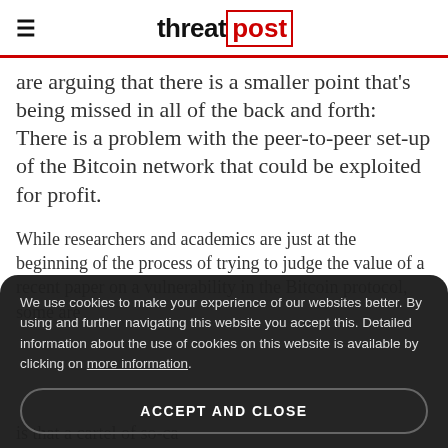threatpost
are arguing that there is a smaller point that’s being missed in all of the back and forth: There is a problem with the peer-to-peer set-up of the Bitcoin network that could be exploited for profit.
While researchers and academics are just at the beginning of the process of trying to judge the value of a recent paper on a vulnerability in the Bitcoin protocol, some are
We use cookies to make your experience of our websites better. By using and further navigating this website you accept this. Detailed information about the use of cookies on this website is available by clicking on more information.
ACCEPT AND CLOSE
is that a cartel of so-ca